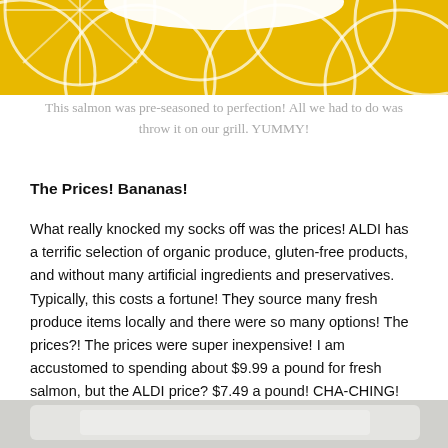[Figure (photo): Top portion of a yellow patterned fabric or plate with white geometric design, partially cropped]
This salmon was pre-seasoned to perfection! All we had to do was throw it on our grill. YUMMY!
The Prices! Bananas!
What really knocked my socks off was the prices! ALDI has a terrific selection of organic produce, gluten-free products, and without many artificial ingredients and preservatives. Typically, this costs a fortune! They source many fresh produce items locally and there were so many options! The prices?! The prices were super inexpensive! I am accustomed to spending about $9.99 a pound for fresh salmon, but the ALDI price? $7.49 a pound! CHA-CHING! Organic bananas were $.39 a piece! Bananas!
[Figure (photo): Bottom portion of an image, partially cropped, showing what appears to be a white surface or dish]